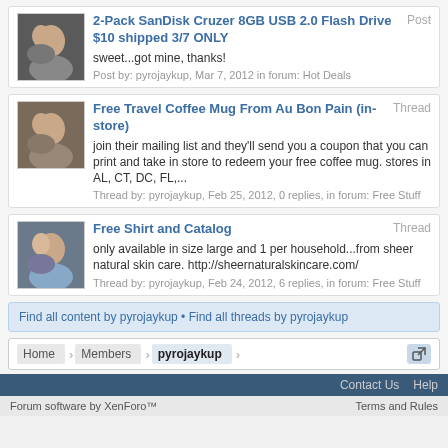2-Pack SanDisk Cruzer 8GB USB 2.0 Flash Drive $10 shipped 3/7 ONLY | Post | sweet...got mine, thanks! | Post by: pyrojaykup, Mar 7, 2012 in forum: Hot Deals
Free Travel Coffee Mug From Au Bon Pain (in-store) | Thread | join their mailing list and they'll send you a coupon that you can print and take in store to redeem your free coffee mug. stores in AL, CT, DC, FL,... | Thread by: pyrojaykup, Feb 25, 2012, 0 replies, in forum: Free Stuff
Free Shirt and Catalog | Thread | only available in size large and 1 per household...from sheer natural skin care. http://sheernaturalskincare.com/ | Thread by: pyrojaykup, Feb 24, 2012, 6 replies, in forum: Free Stuff
Find all content by pyrojaykup • Find all threads by pyrojaykup
Home > Members > pyrojaykup
Contact Us  Help
Forum software by XenForo™  Terms and Rules